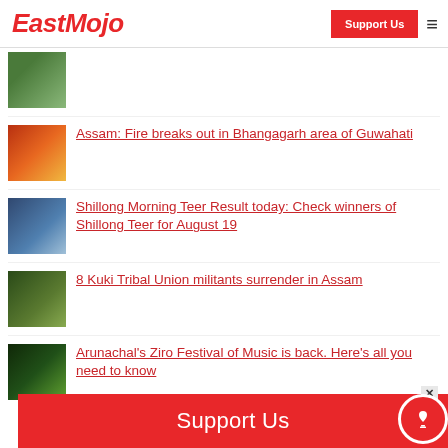EastMojo | Support Us
[Figure (photo): Partial thumbnail image (green/nature) at top of list]
Assam: Fire breaks out in Bhangagarh area of Guwahati
Shillong Morning Teer Result today: Check winners of Shillong Teer for August 19
8 Kuki Tribal Union militants surrender in Assam
Arunachal's Ziro Festival of Music is back. Here's all you need to know
Support Us